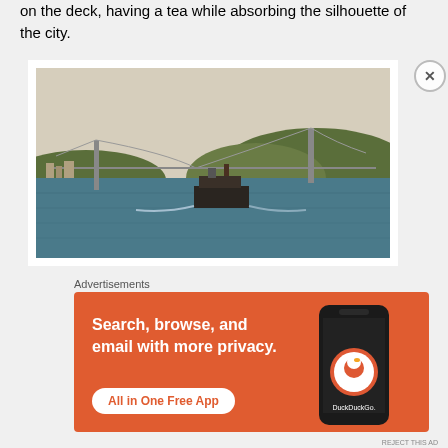on the deck, having a tea while absorbing the silhouette of the city.
[Figure (photo): A ferry boat crossing the Bosphorus strait with a suspension bridge (Fatih Sultan Mehmet Bridge) and hillside cityscape in the background, Istanbul.]
Advertisements
[Figure (screenshot): DuckDuckGo advertisement banner with orange background showing a smartphone. Text reads: 'Search, browse, and email with more privacy. All in One Free App'. DuckDuckGo logo and duck icon visible.]